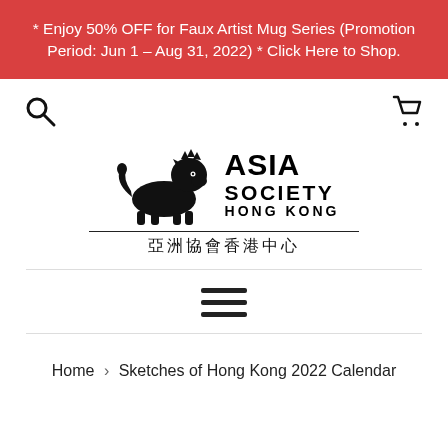* Enjoy 50% OFF for Faux Artist Mug Series (Promotion Period: Jun 1 – Aug 31, 2022) * Click Here to Shop.
[Figure (other): Search icon (magnifying glass) on left and shopping cart icon on right, navigation bar]
[Figure (logo): Asia Society Hong Kong logo with lion figure and text 'ASIA SOCIETY HONG KONG' with Chinese characters '亞洲協會香港中心']
[Figure (other): Hamburger menu icon (three horizontal lines)]
Home › Sketches of Hong Kong 2022 Calendar